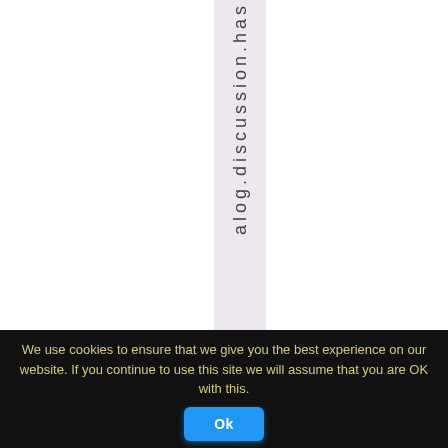[Figure (screenshot): A vertical strip with light pinkish-grey background containing vertically oriented text reading 'alog.discussion.has' with each character stacked top to bottom, on an otherwise white page background.]
We use cookies to ensure that we give you the best experience on our website. If you continue to use this site we will assume that you are OK with this.